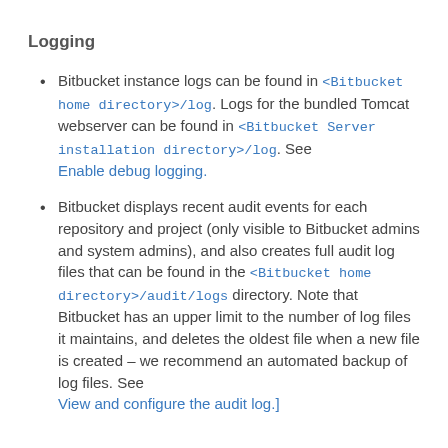Logging
Bitbucket instance logs can be found in <Bitbucket home directory>/log. Logs for the bundled Tomcat webserver can be found in <Bitbucket Server installation directory>/log. See Enable debug logging.
Bitbucket displays recent audit events for each repository and project (only visible to Bitbucket admins and system admins), and also creates full audit log files that can be found in the <Bitbucket home directory>/audit/logs directory. Note that Bitbucket has an upper limit to the number of log files it maintains, and deletes the oldest file when a new file is created – we recommend an automated backup of log files. See View and configure the audit log.]